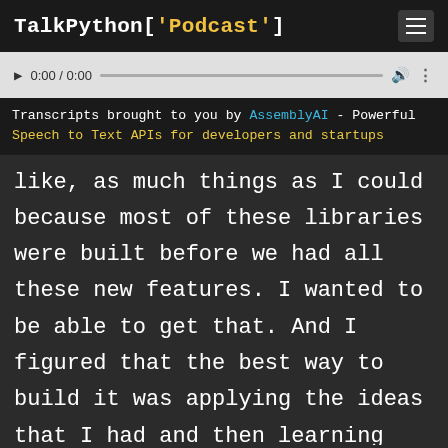TalkPython['Podcast']
[Figure (screenshot): Audio player bar with play button, time display 0:00 / 0:00, progress bar, volume and more icons]
Transcripts brought to you by AssemblyAI - Powerful Speech to Text APIs for developers and startups
like, as much things as I could because most of these libraries were built before we had all these new features. I wanted to be able to get that. And I figured that the best way to build it was applying the ideas that I had and then learning that I had from the other tools and from the other things